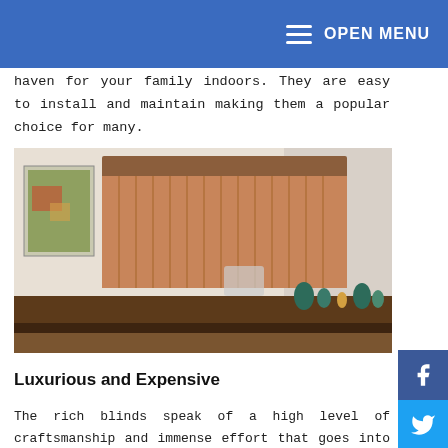OPEN MENU
haven for your family indoors. They are easy to install and maintain making them a popular choice for many.
[Figure (photo): Interior room photo showing vertical wood blinds covering a large window, with a wooden dining table and chairs, decorative items, and artwork on the wall.]
Luxurious and Expensive
The rich blinds speak of a high level of craftsmanship and immense effort that goes into manufacturing them. That these blinds will not come cheap is no surprise. Real wood is expensive and getting them customized for your windows makes them one of the most expensive